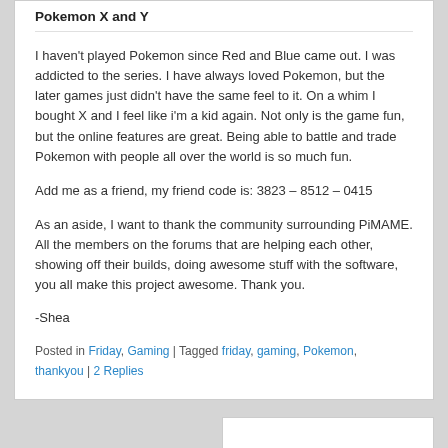Pokemon X and Y
I haven't played Pokemon since Red and Blue came out.  I was addicted to the series.  I have always loved Pokemon, but the later games just didn't have the same feel to it.  On a whim I bought X and I feel like i'm a kid again.   Not only is the game fun, but the online features are great.  Being able to battle and trade Pokemon with people all over the world is so much fun.
Add me as a friend, my friend code is: 3823 – 8512 – 0415
As an aside, I want to thank the community surrounding PiMAME.  All the members on the forums that are helping each other, showing off their builds, doing awesome stuff with the software, you all make this project awesome.  Thank you.
-Shea
Posted in Friday, Gaming | Tagged friday, gaming, Pokemon, thankyou | 2 Replies